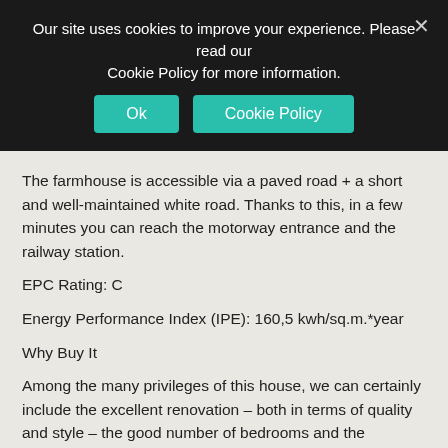Our site uses cookies to improve your experience. Please read our Cookie Policy for more information.
The farmhouse is accessible via a paved road + a short and well-maintained white road. Thanks to this, in a few minutes you can reach the motorway entrance and the railway station.
EPC Rating: C
Energy Performance Index (IPE): 160,5 kwh/sq.m.*year
Why Buy It
Among the many privileges of this house, we can certainly include the excellent renovation – both in terms of quality and style – the good number of bedrooms and the location, quiet but easily accessible and close to services. All this makes it the perfect home